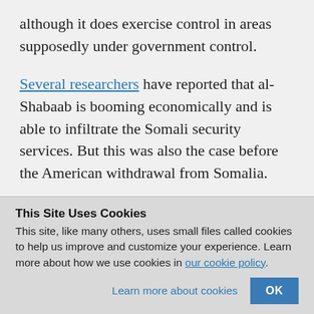although it does exercise control in areas supposedly under government control.
Several researchers have reported that al-Shabaab is booming economically and is able to infiltrate the Somali security services. But this was also the case before the American withdrawal from Somalia.
This Site Uses Cookies
This site, like many others, uses small files called cookies to help us improve and customize your experience. Learn more about how we use cookies in our cookie policy.
Learn more about cookies  OK